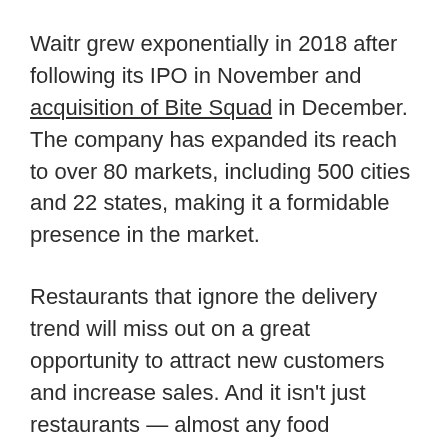Waitr grew exponentially in 2018 after following its IPO in November and acquisition of Bite Squad in December. The company has expanded its reach to over 80 markets, including 500 cities and 22 states, making it a formidable presence in the market.
Restaurants that ignore the delivery trend will miss out on a great opportunity to attract new customers and increase sales. And it isn't just restaurants — almost any food business (including brick-and-mortar retail stores) can take advantage of this new channel for reaching consumers. Beyond just hot meals, delivery can